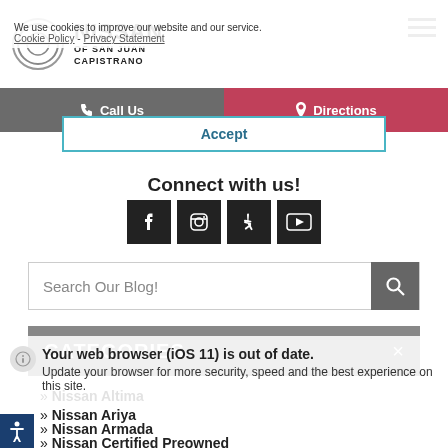NISSAN OF SAN JUAN CAPISTRANO
We use cookies to improve our website and our service.
Cookie Policy - Privacy Statement
Call Us
Directions
Accept
Connect with us!
[Figure (infographic): Social media icons: Facebook, Instagram, Yelp, YouTube]
Search Our Blog!
CATEGORIES
» Nissan Altima
» Nissan Ariya
» Nissan Armada
» Nissan Certified Preowned
Your web browser (iOS 11) is out of date. Update your browser for more security, speed and the best experience on this site.